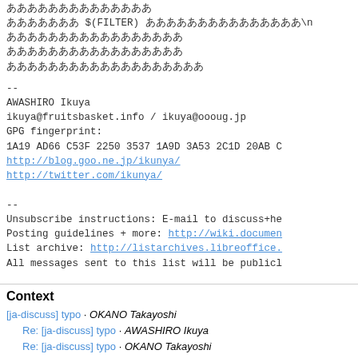ああああああああああああああ
あああああああ $(FILTER) あああああああああああああああ\n
あああああああああああああああああ
あああああああああああああああああ
あああああああああああああああああああ
--
AWASHIRO Ikuya
ikuya@fruitsbasket.info / ikuya@oooug.jp
GPG fingerprint:
1A19 AD66 C53F 2250 3537 1A9D 3A53 2C1D 20AB C
http://blog.goo.ne.jp/ikunya/
http://twitter.com/ikunya/
--
Unsubscribe instructions: E-mail to discuss+he
Posting guidelines + more: http://wiki.documen
List archive: http://listarchives.libreoffice.
All messages sent to this list will be publicl
Context
[ja-discuss] typo · OKANO Takayoshi
Re: [ja-discuss] typo · AWASHIRO Ikuya
Re: [ja-discuss] typo · OKANO Takayoshi